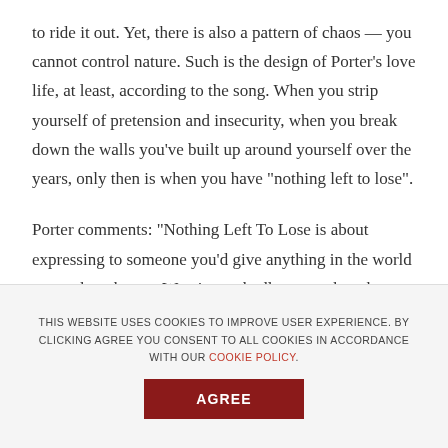to ride it out. Yet, there is also a pattern of chaos — you cannot control nature. Such is the design of Porter's love life, at least, according to the song. When you strip yourself of pretension and insecurity, when you break down the walls you've built up around yourself over the years, only then is when you have “nothing left to lose”.
Porter comments: “Nothing Left To Lose is about expressing to someone you’d give anything in the world to see them happy. Wanting so badly to see them be authentically themselves without fear of judgement and not the character they put on to blend into the rest of the
THIS WEBSITE USES COOKIES TO IMPROVE USER EXPERIENCE. BY CLICKING AGREE YOU CONSENT TO ALL COOKIES IN ACCORDANCE WITH OUR COOKIE POLICY. AGREE